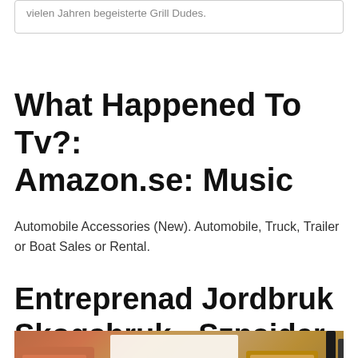vielen Jahren begeisterte Grill Dudes.
What Happened To Tv?: Amazon.se: Music
Automobile Accessories (New). Automobile, Truck, Trailer or Boat Sales or Rental.
Entreprenad Jordbruk Skogsbruk - Sznajder Batterier
[Figure (photo): A flat lay photo of stationery and leather goods on a wooden desk surface, including a ruler, leather wallet or notebook, pens, and a red container.]